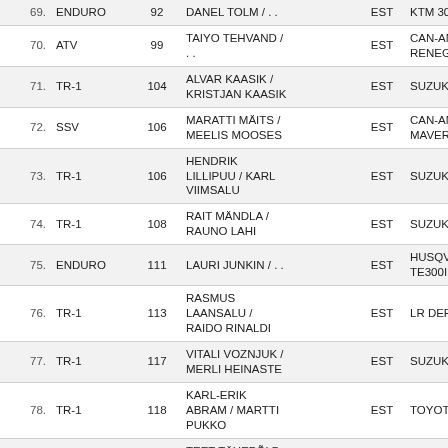| # | Category | No. | Driver / Co-driver | Nat | Vehicle |
| --- | --- | --- | --- | --- | --- |
| 69. | ENDURO | 92 | DANEL TOLM / . . | EST | KTM 30 |
| 70. | ATV | 99 | TAIYO TEHVAND / . . | EST | CAN-AM RENEGA |
| 71. | TR-1 | 104 | ALVAR KAASIK / KRISTJAN KAASIK | EST | SUZUKI |
| 72. | SSV | 106 | MARATTI MÄITS / MEELIS MOOSES | EST | CAN-AM MAVERI |
| 73. | TR-1 | 106 | HENDRIK LILLIPUU / KARL VIIMSALU | EST | SUZUKI |
| 74. | TR-1 | 108 | RAIT MÄNDLA / RAUNO LAHI | EST | SUZUKI |
| 75. | ENDURO | 111 | LAURI JUNKIN / . . | EST | HUSQVA TE300I |
| 76. | TR-1 | 113 | RASMUS LAANSALU / RAIDO RINALDI | EST | LR DEFI |
| 77. | TR-1 | 117 | VITALI VOZNJUK / MERLI HEINASTE | EST | SUZUKI |
| 78. | TR-1 | 118 | KARL-ERIK ABRAM / MARTTI PUKKO | EST | TOYOTA |
| 79. | TR-1 | 123 | TEET TÄHEPÕLD / KRISTER PEETMAA | EST | SUZUKI |
| 80. | TR-1 | 124 | TAIYO KALLISTE / JOONAS LILLO | EST | SUZUKI |
| 81. | TR-1 | 126 | RAUL PEHTER / ARNO TOOM | EST | SUZUKI |